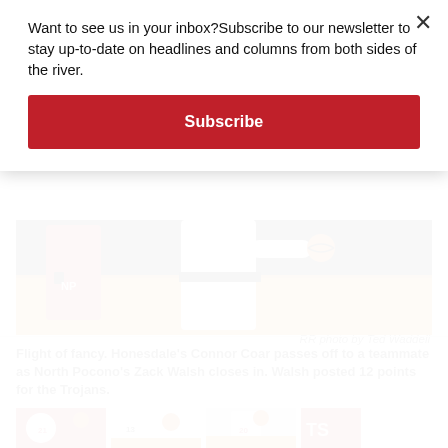Want to see us in your inbox?Subscribe to our newsletter to stay up-to-date on headlines and columns from both sides of the river.
Subscribe
[Figure (photo): Basketball game photo showing Honesdale player in white uniform passing ball while North Pocono player in red uniform with NP logo closes in, taken in a gymnasium]
RR photo by Ted Waddell
Flight of fancy. Honesdale's Connor Coar passes off to a teammate as North Pocono's Zack Walsh closes in. Walsh posted 12 points for the Trojans.
[Figure (photo): Thumbnail basketball photo showing player #21 in red uniform with mask]
[Figure (photo): Thumbnail basketball photo showing player #13 in white uniform with mask]
[Figure (photo): Thumbnail basketball photo showing player #20 in white uniform with mask]
[Figure (photo): Thumbnail basketball photo partially visible with TS text visible]